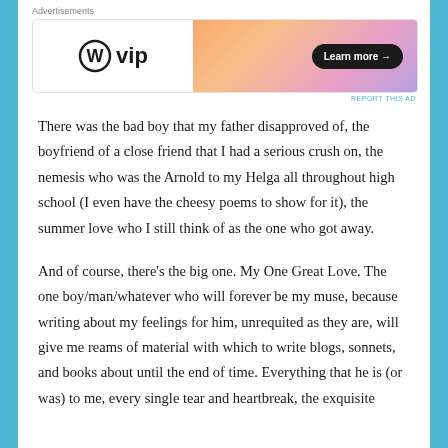[Figure (other): WordPress VIP advertisement banner with gradient orange-pink-purple background and Learn more button]
There was the bad boy that my father disapproved of, the boyfriend of a close friend that I had a serious crush on, the nemesis who was the Arnold to my Helga all throughout high school (I even have the cheesy poems to show for it), the summer love who I still think of as the one who got away.
And of course, there's the big one. My One Great Love. The one boy/man/whatever who will forever be my muse, because writing about my feelings for him, unrequited as they are, will give me reams of material with which to write blogs, sonnets, and books about until the end of time. Everything that he is (or was) to me, every single tear and heartbreak, the exquisite